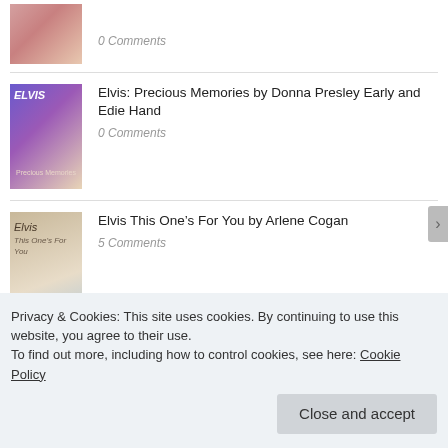[Figure (photo): Book cover thumbnail (partial) at top of list]
0 Comments
[Figure (photo): Book cover for Elvis: Precious Memories by Donna Presley Early and Edie Hand]
Elvis: Precious Memories by Donna Presley Early and Edie Hand
0 Comments
[Figure (photo): Book cover for Elvis This One's For You by Arlene Cogan]
Elvis This One’s For You by Arlene Cogan
5 Comments
[Figure (photo): Book cover for Elvis Aaron Presley Revelations from the Memphis Mafia by Alanna Nash with Billy Smith, Marty Lacker and Lamar Fike]
Elvis Aaron Presley Revelations from the Memphis Mafia by Alanna Nash with Billy Smith, Marty Lacker and Lamar Fike
1 Comment
Privacy & Cookies: This site uses cookies. By continuing to use this website, you agree to their use.
To find out more, including how to control cookies, see here: Cookie Policy
Close and accept